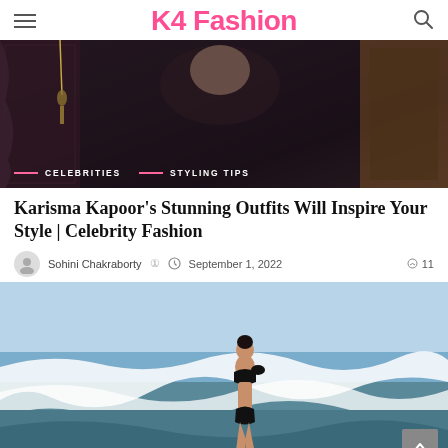K4 Fashion
[Figure (photo): Woman in dark patterned outfit sitting in an ornate interior setting. Tags overlaid: CELEBRITIES, STYLING TIPS]
Karisma Kapoor's Stunning Outfits Will Inspire Your Style | Celebrity Fashion
Sohini Chakraborty  September 1, 2022  11
[Figure (photo): Woman in black bikini standing in ocean waves at the beach]